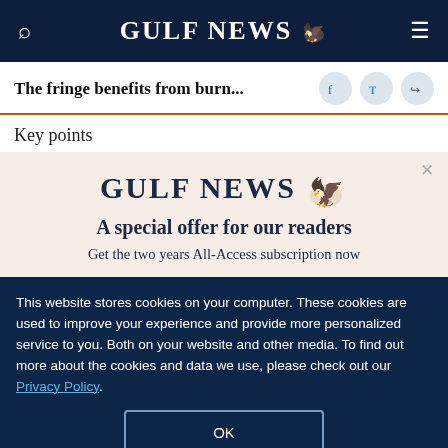GULF NEWS
The fringe benefits from burn...
Key points
[Figure (logo): Gulf News logo with eagle emblem and text 'A special offer for our readers' and 'Get the two years All-Access subscription now']
This website stores cookies on your computer. These cookies are used to improve your experience and provide more personalized service to you. Both on your website and other media. To find out more about the cookies and data we use, please check out our Privacy Policy.
OK